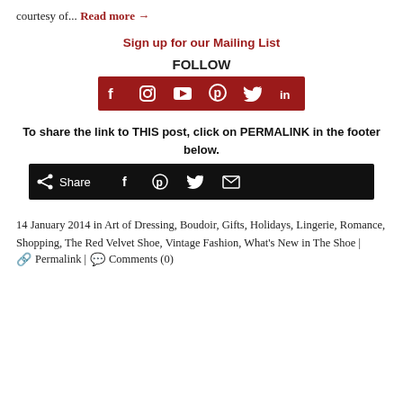courtesy of... Read more →
Sign up for our Mailing List
FOLLOW
[Figure (infographic): Red social media bar with icons: Facebook, Instagram, YouTube, Pinterest, Twitter, LinkedIn]
To share the link to THIS post, click on PERMALINK in the footer below.
[Figure (infographic): Black share bar with share icon, Share text, Facebook, Pinterest, Twitter, and email icons]
14 January 2014 in Art of Dressing, Boudoir, Gifts, Holidays, Lingerie, Romance, Shopping, The Red Velvet Shoe, Vintage Fashion, What's New in The Shoe |
🔗 Permalink | 💬 Comments (0)